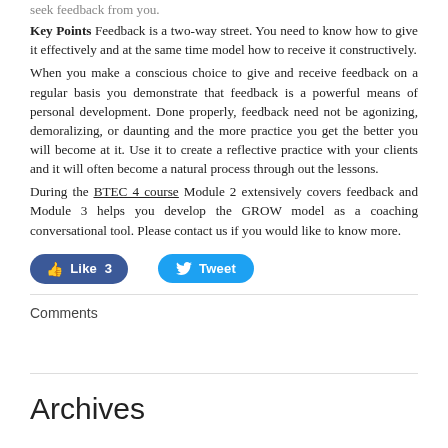seek feedback from you.
Key Points Feedback is a two-way street. You need to know how to give it effectively and at the same time model how to receive it constructively.
When you make a conscious choice to give and receive feedback on a regular basis you demonstrate that feedback is a powerful means of personal development. Done properly, feedback need not be agonizing, demoralizing, or daunting and the more practice you get the better you will become at it. Use it to create a reflective practice with your clients and it will often become a natural process through out the lessons.
During the BTEC 4 course Module 2 extensively covers feedback and Module 3 helps you develop the GROW model as a coaching conversational tool. Please contact us if you would like to know more.
[Figure (other): Social media buttons: Facebook Like (3) and Twitter Tweet]
Comments
Archives